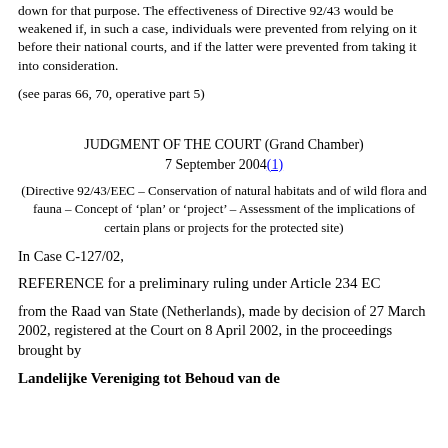down for that purpose. The effectiveness of Directive 92/43 would be weakened if, in such a case, individuals were prevented from relying on it before their national courts, and if the latter were prevented from taking it into consideration.
(see paras 66, 70, operative part 5)
JUDGMENT OF THE COURT (Grand Chamber)
7 September 2004(1)
(Directive 92/43/EEC – Conservation of natural habitats and of wild flora and fauna – Concept of ‘plan’ or ‘project’ – Assessment of the implications of certain plans or projects for the protected site)
In Case C-127/02,
REFERENCE for a preliminary ruling under Article 234 EC
from the Raad van State (Netherlands), made by decision of 27 March 2002, registered at the Court on 8 April 2002, in the proceedings brought by
Landelijke Vereniging tot Behoud van de